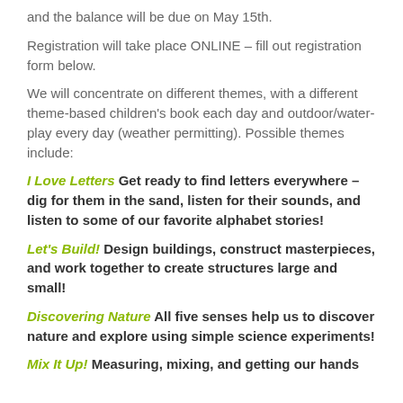and the balance will be due on May 15th.
Registration will take place ONLINE – fill out registration form below.
We will concentrate on different themes, with a different theme-based children's book each day and outdoor/water-play every day (weather permitting). Possible themes include:
I Love Letters Get ready to find letters everywhere – dig for them in the sand, listen for their sounds, and listen to some of our favorite alphabet stories!
Let's Build! Design buildings, construct masterpieces, and work together to create structures large and small!
Discovering Nature All five senses help us to discover nature and explore using simple science experiments!
Mix It Up! Measuring, mixing, and getting our hands